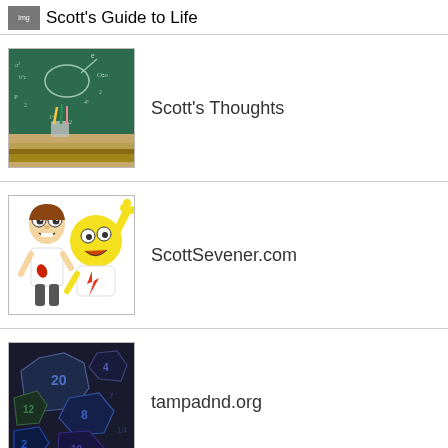Scott's Guide to Life
[Figure (photo): Chalkboard with math equations, pencils in a cup, and stacked books]
Scott's Thoughts
[Figure (illustration): Cartoon of a boy and a yellow cartoon character with arms raised]
ScottSevener.com
[Figure (photo): Collection of dark polyhedral dice with numbers]
tampadnd.org